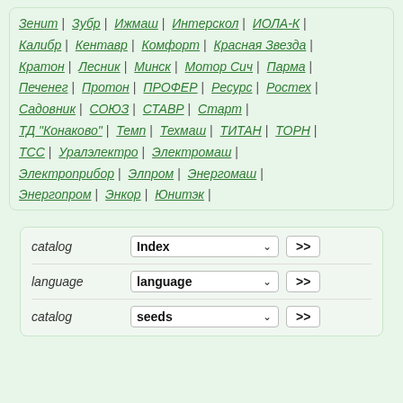Зенит | Зубр | Ижмаш | Интерскол | ИОЛА-К | Калибр | Кентавр | Комфорт | Красная Звезда | Кратон | Лесник | Минск | Мотор Сич | Парма | Печенег | Протон | ПРОФЕР | Ресурс | Ростех | Садовник | СОЮЗ | СТАВР | Старт | ТД "Конаково" | Темп | Техмаш | ТИТАН | ТОРН | ТСС | Уралэлектро | Электромаш | Электроприбор | Элпром | Энергомаш | Энергопром | Энкор | Юнитэк |
| label | select | action |
| --- | --- | --- |
| catalog | Index | >> |
| language | language | >> |
| catalog | seeds | >> |